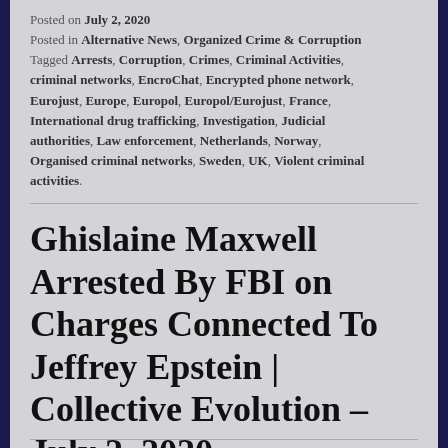Posted on July 2, 2020
Posted in Alternative News, Organized Crime & Corruption
Tagged Arrests, Corruption, Crimes, Criminal Activities, criminal networks, EncroChat, Encrypted phone network, Eurojust, Europe, Europol, Europol/Eurojust, France, International drug trafficking, Investigation, Judicial authorities, Law enforcement, Netherlands, Norway, Organised criminal networks, Sweden, UK, Violent criminal activities.
Ghislaine Maxwell Arrested By FBI on Charges Connected To Jeffrey Epstein | Collective Evolution – July 2, 2020